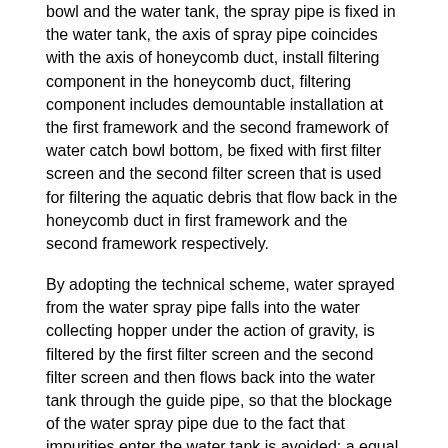bowl and the water tank, the spray pipe is fixed in the water tank, the axis of spray pipe coincides with the axis of honeycomb duct, install filtering component in the honeycomb duct, filtering component includes demountable installation at the first framework and the second framework of water catch bowl bottom, be fixed with first filter screen and the second filter screen that is used for filtering the aquatic debris that flow back in the honeycomb duct in first framework and the second framework respectively.
By adopting the technical scheme, water sprayed from the water spray pipe falls into the water collecting hopper under the action of gravity, is filtered by the first filter screen and the second filter screen and then flows back into the water tank through the guide pipe, so that the blockage of the water spray pipe due to the fact that impurities enter the water tank is avoided; a equal detachable of second framework for fixing the first framework of first filter screen and being used for fixed second filter screen installs in the water catch bowl bottom, has changed the mode of traditional fixed filter screen to this makes the filter screen dismantle